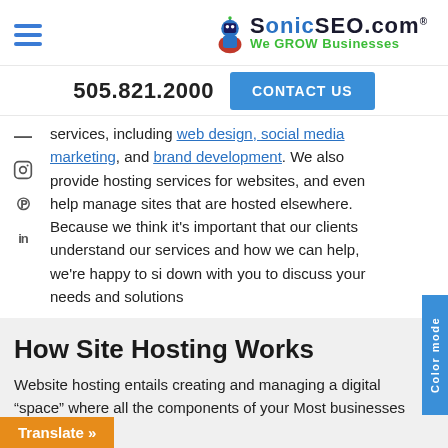SonicSEO.com — We GROW Businesses
505.821.2000   CONTACT US
services, including web design, social media marketing, and brand development. We also provide hosting services for websites, and even help manage sites that are hosted elsewhere. Because we think it's important that our clients understand our services and how we can help, we're happy to sit down with you to discuss your needs and solutions
How Site Hosting Works
Website hosting entails creating and managing a digital "space" where all the components of your Most businesses lease space on